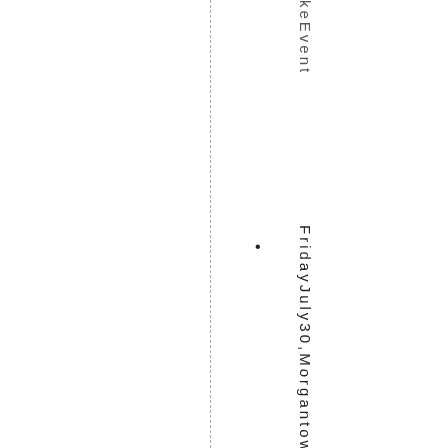• keEventFridayJuly30, Morgantown